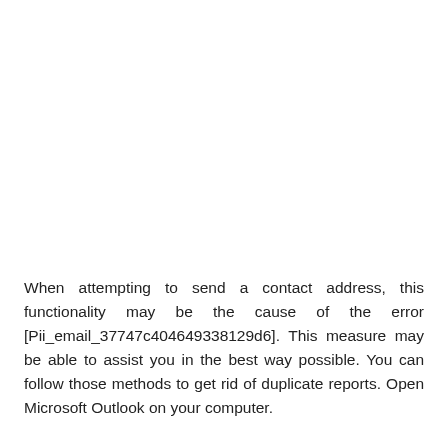When attempting to send a contact address, this functionality may be the cause of the error [Pii_email_37747c404649338129d6]. This measure may be able to assist you in the best way possible. You can follow those methods to get rid of duplicate reports. Open Microsoft Outlook on your computer.